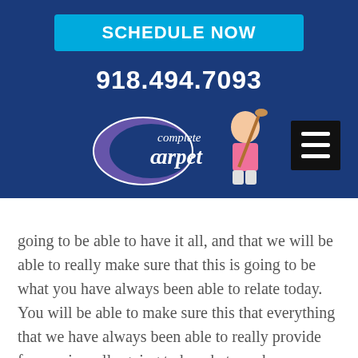SCHEDULE NOW
918.494.7093
[Figure (logo): Complete Carpet logo with purple crescent moon shape, company name 'complete carpet', and a photo of a smiling girl]
going to be able to have it all, and that we will be able to really make sure that this is going to be what you have always been able to relate today. You will be able to make sure this that everything that we have always been able to really provide for you is really going to be what you have always been able to really do today.